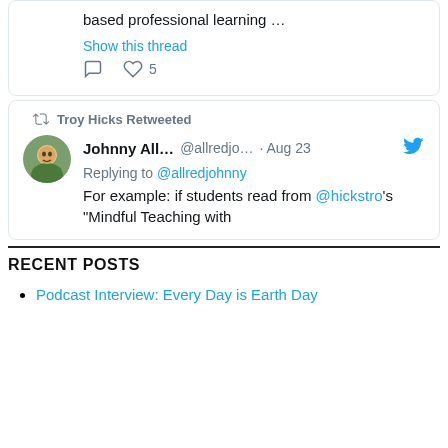[Figure (screenshot): Partial tweet card showing text 'based professional learning …' with a 'Show this thread' link and like/comment icons with 5 likes]
[Figure (screenshot): Tweet card: Troy Hicks Retweeted. Johnny All... @allredjo... · Aug 23. Replying to @allredjohnny. For example: if students read from @hickstro's 'Mindful Teaching with']
RECENT POSTS
Podcast Interview: Every Day is Earth Day